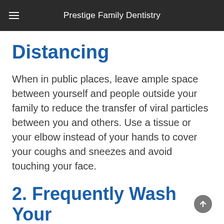Prestige Family Dentistry
Distancing
When in public places, leave ample space between yourself and people outside your family to reduce the transfer of viral particles between you and others. Use a tissue or your elbow instead of your hands to cover your coughs and sneezes and avoid touching your face.
2. Frequently Wash Your Hands